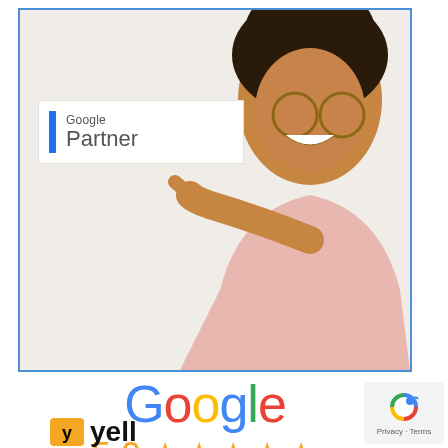[Figure (photo): Marketing image: A young woman with curly hair, glasses, and a pink t-shirt, smiling and pointing to a Google Partner badge. The image is framed with a blue border.]
[Figure (logo): Google logo in multicolor letters followed by a 5.0 star rating (5 orange stars) below the main photo]
[Figure (logo): Partial Yell logo at the bottom of the page]
[Figure (other): Privacy - Terms reCAPTCHA badge in bottom right corner]